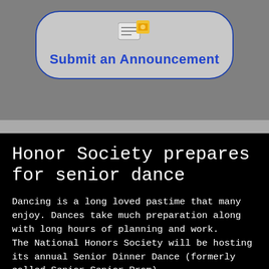[Figure (screenshot): A button with an icon showing a document/newspaper graphic, labeled 'Submit an Announcement' in bold blue text on a light gray rounded rectangle with a blue border, set against a dark gray background.]
Honor Society prepares for senior dance
Dancing is a long loved pastime that many enjoy. Dances take much preparation along with long hours of planning and work. The National Honors Society will be hosting its annual Senior Dinner Dance (formerly called Senior Senior Prom)